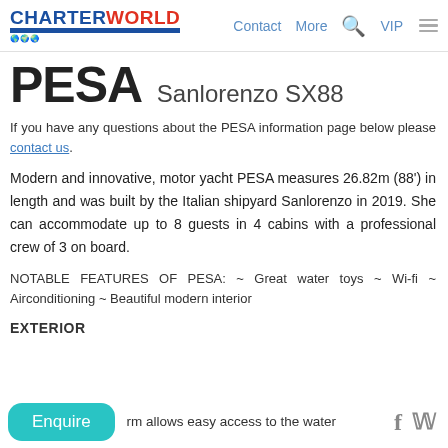CHARTERWORLD — Contact More VIP
PESA Sanlorenzo SX88
If you have any questions about the PESA information page below please contact us.
Modern and innovative, motor yacht PESA measures 26.82m (88') in length and was built by the Italian shipyard Sanlorenzo in 2019. She can accommodate up to 8 guests in 4 cabins with a professional crew of 3 on board.
NOTABLE FEATURES OF PESA: ~ Great water toys ~ Wi-fi ~ Airconditioning ~ Beautiful modern interior
EXTERIOR
rm allows easy access to the water